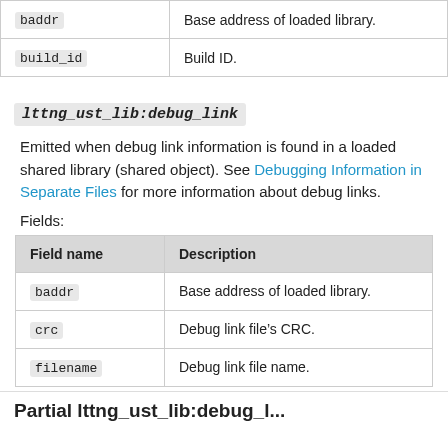| Field name | Description |
| --- | --- |
| baddr | Base address of loaded library. |
| build_id | Build ID. |
lttng_ust_lib:debug_link
Emitted when debug link information is found in a loaded shared library (shared object). See Debugging Information in Separate Files for more information about debug links.
Fields:
| Field name | Description |
| --- | --- |
| baddr | Base address of loaded library. |
| crc | Debug link file’s CRC. |
| filename | Debug link file name. |
Partial section header at bottom